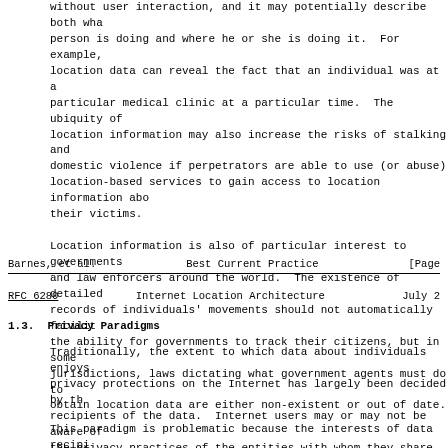without user interaction, and it may potentially describe both what a person is doing and where he or she is doing it.  For example, location data can reveal the fact that an individual was at a particular medical clinic at a particular time.  The ubiquity of location information may also increase the risks of stalking and domestic violence if perpetrators are able to use (or abuse) location-based services to gain access to location information about their victims.
Location information is also of particular interest to governments and law enforcers around the world.  The existence of detailed records of individuals' movements should not automatically facilitate the ability for governments to track their citizens, but in some jurisdictions, laws dictating what government agents must do to obtain location data are either non-existent or out of date.
Barnes, et al.          Best Current Practice                    [Page
RFC 6280             Internet Location Architecture           July 2
1.3.  Privacy Paradigms
Traditionally, the extent to which data about individuals enjoys privacy protections on the Internet has largely been decided by the recipients of the data.  Internet users may or may not be aware of the privacy practices of the entities with whom they share data. Even if they are aware, they have generally been limited to making a binary choice between sharing data with a particular entity or not sharing it.  Internet users have not historically been granted the opportunity to express their own privacy preferences to the recipients of their data and to have those preferences honored.
This paradigm is problematic because the interests of data recipients